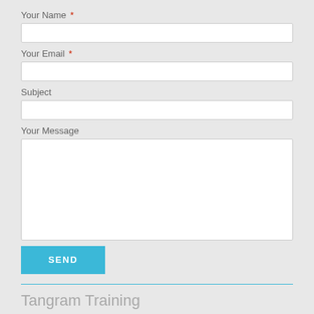Your Name *
Your Email *
Subject
Your Message
SEND
Tangram Training